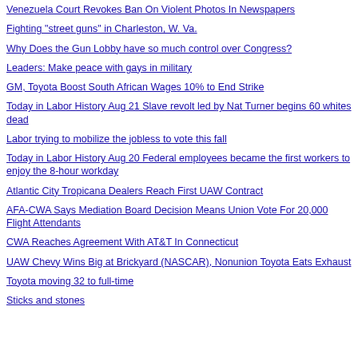Venezuela Court Revokes Ban On Violent Photos In Newspapers
Fighting "street guns" in Charleston, W. Va.
Why Does the Gun Lobby have so much control over Congress?
Leaders: Make peace with gays in military
GM, Toyota Boost South African Wages 10% to End Strike
Today in Labor History Aug 21 Slave revolt led by Nat Turner begins 60 whites dead
Labor trying to mobilize the jobless to vote this fall
Today in Labor History Aug 20 Federal employees became the first workers to enjoy the 8-hour workday
Atlantic City Tropicana Dealers Reach First UAW Contract
AFA-CWA Says Mediation Board Decision Means Union Vote For 20,000 Flight Attendants
CWA Reaches Agreement With AT&T In Connecticut
UAW Chevy Wins Big at Brickyard (NASCAR), Nonunion Toyota Eats Exhaust
Toyota moving 32 to full-time
Sticks and stones